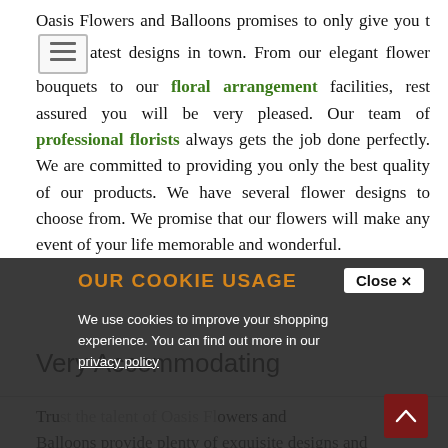Oasis Flowers and Balloons promises to only give you the latest designs in town. From our elegant flower bouquets to our floral arrangement facilities, rest assured you will be very pleased. Our team of professional florists always gets the job done perfectly. We are committed to providing you only the best quality of our products. We have several flower designs to choose from. We promise that our flowers will make any event of your life memorable and wonderful.
Very Accommodating
Trust the talent of Oasis Flowers and Balloons provide plenty of exquisite designs and arrangements. Our florist is always very welcoming. We will answer your questions and requests, and you won't have to pay for your consultations. Our professional
OUR COOKIE USAGE
We use cookies to improve your shopping experience. You can find out more in our privacy policy